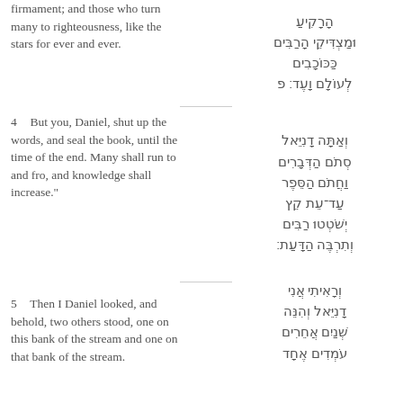firmament; and those who turn many to righteousness, like the stars for ever and ever.
הָרָקִיעַ וּמַצְדִּיקֵי הָרַבִּים כַּכּוֹכָבִים לְעוֹלָם וָעֶד׃ פ
4  But you, Daniel, shut up the words, and seal the book, until the time of the end. Many shall run to and fro, and knowledge shall increase."
וְאַתָּה דָנִיֵּאל סְתֹם הַדְּבָרִים וַחֲתֹם הַסֵּפֶר עַד־עֵת קֵץ יְשֹׁטְטוּ רַבִּים וְתִרְבֶּה הַדָּעַת׃
5  Then I Daniel looked, and behold, two others stood, one on this bank of the stream and one on that bank of the stream.
וְרָאִיתִי אֲנִי דָנִיֵּאל וְהִנֵּה שְׁנַיִם אֲחֵרִים עֹמְדִים אֶחָד